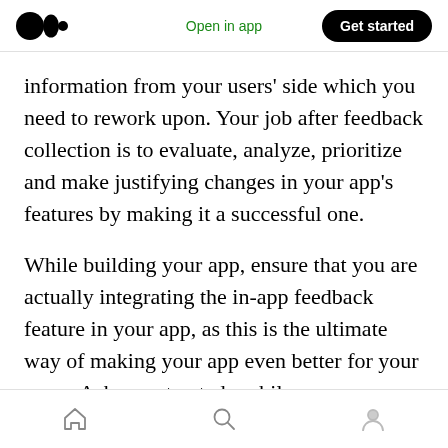Open in app | Get started
information from your users’ side which you need to rework upon. Your job after feedback collection is to evaluate, analyze, prioritize and make justifying changes in your app’s features by making it a successful one.
While building your app, ensure that you are actually integrating the in-app feedback feature in your app, as this is the ultimate way of making your app even better for your users. Ask your trusted mobile app development company today about the in-app feedback feature and know
Home | Search | Profile